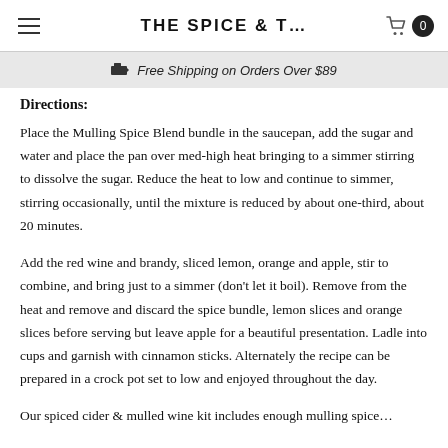THE SPICE & T…
🚚  Free Shipping on Orders Over $89
Directions:
Place the Mulling Spice Blend bundle in the saucepan, add the sugar and water and place the pan over med-high heat bringing to a simmer stirring to dissolve the sugar. Reduce the heat to low and continue to simmer, stirring occasionally, until the mixture is reduced by about one-third, about 20 minutes.
Add the red wine and brandy, sliced lemon, orange and apple, stir to combine, and bring just to a simmer (don't let it boil). Remove from the heat and remove and discard the spice bundle, lemon slices and orange slices before serving but leave apple for a beautiful presentation. Ladle into cups and garnish with cinnamon sticks. Alternately the recipe can be prepared in a crock pot set to low and enjoyed throughout the day.
Our spiced cider & mulled wine kit includes enough mulling spice…